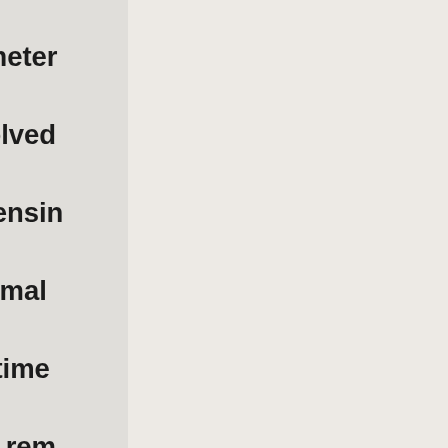Conductivity meter measure dissolved a liquid. The sensin surface on normal scale-up over time probe must be rem for cleaning. A dire contact probe mus chemically cleaned weak hydrochloric and not by scrapin buffing the surface Scratching the sen increases the surfa